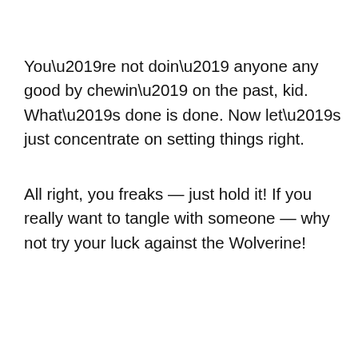You’re not doin’ anyone any good by chewin’ on the past, kid. What’s done is done. Now let’s just concentrate on setting things right.
All right, you freaks — just hold it! If you really want to tangle with someone — why not try your luck against the Wolverine!
Best Wolverine Quotes in Marvel Comic Books
She’s ... re top th...
[Figure (screenshot): Advertisement bar: Topgolf logo with play button, dine-in checkmark, delivery X mark, navigation/map icon, and red scroll-up button]